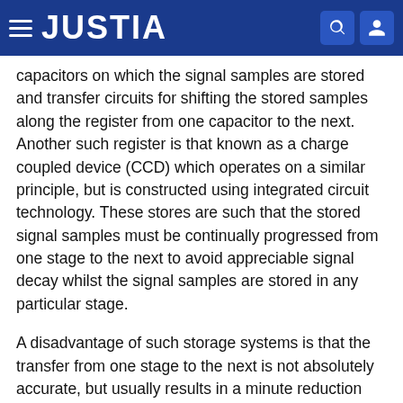JUSTIA
capacitors on which the signal samples are stored and transfer circuits for shifting the stored samples along the register from one capacitor to the next. Another such register is that known as a charge coupled device (CCD) which operates on a similar principle, but is constructed using integrated circuit technology. These stores are such that the stored signal samples must be continually progressed from one stage to the next to avoid appreciable signal decay whilst the signal samples are stored in any particular stage.
A disadvantage of such storage systems is that the transfer from one stage to the next is not absolutely accurate, but usually results in a minute reduction (typically a small fraction of one percent) in the stored signal samples as they are shifted from one stage to the next. This reduction becomes particularly